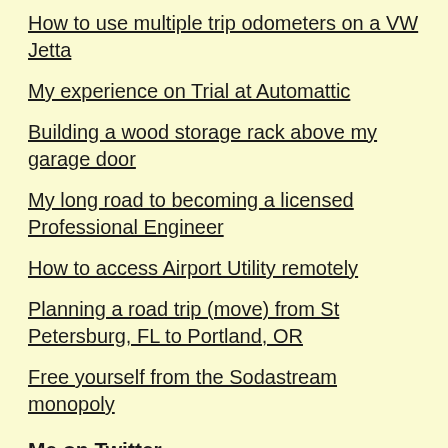How to use multiple trip odometers on a VW Jetta
My experience on Trial at Automattic
Building a wood storage rack above my garage door
My long road to becoming a licensed Professional Engineer
How to access Airport Utility remotely
Planning a road trip (move) from St Petersburg, FL to Portland, OR
Free yourself from the Sodastream monopoly
Me on Twitter
[Figure (screenshot): Twitter widget showing 'Tweets from @daclements' with a Follow button]